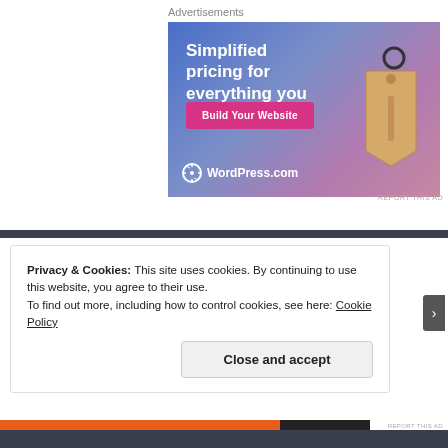Advertisements
[Figure (illustration): WordPress.com advertisement banner with gradient blue-to-pink background, price tag illustration, text 'Simplified pricing for everything you need.', a pink 'Build Your Website' button, and WordPress.com logo at bottom left.]
REPORT THIS AD
Privacy & Cookies: This site uses cookies. By continuing to use this website, you agree to their use.
To find out more, including how to control cookies, see here: Cookie Policy
Close and accept